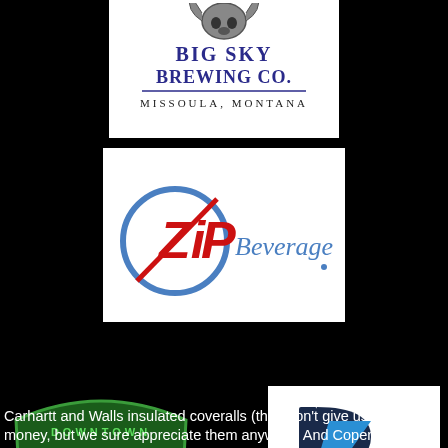[Figure (logo): Big Sky Brewing Co. logo with bull skull, text 'BIG SKY BREWING CO. MISSOULA, MONTANA' in blue and black on white background]
[Figure (logo): Zip Beverage logo with red and blue circular zip design and cursive Beverage text on white background]
[Figure (logo): Downtown Bodega logo in green on black background]
[Figure (logo): Booshie logo with blue B and lightning bolt design on white background]
Carhartt and Walls insulated coveralls (they don't give us any money, but we sure appreciate them anyway!)  And Copenhagen